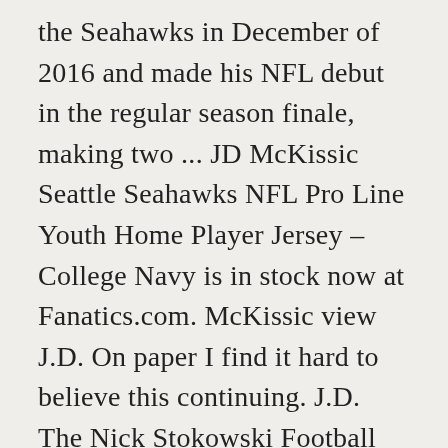the Seahawks in December of 2016 and made his NFL debut in the regular season finale, making two ... JD McKissic Seattle Seahawks NFL Pro Line Youth Home Player Jersey – College Navy is in stock now at Fanatics.com. McKissic view J.D. On paper I find it hard to believe this continuing. J.D. The Nick Stokowski Football Team traded: RB Matt Breida, MIA RB Tony Pollard, DAL J.D. McKissic gets the edge over Johnson, because of his value as a pass-catcher. J.D. J.D. Output includes regular season games from 2000 to 2020 and bowl games from 2002 to 2019. The best-case scenario for McKissic is a role on passing downs, while the worst-case scenario is losing his roster spot to 2019 sixth-round pick Travis